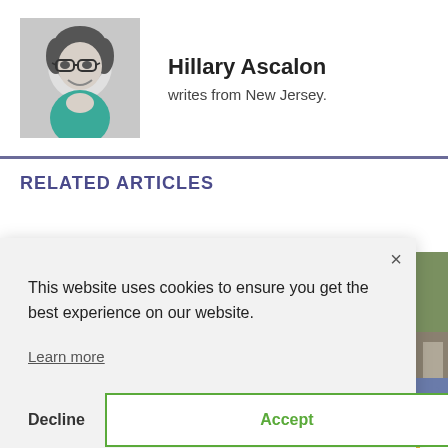[Figure (photo): Black and white headshot of Hillary Ascalon, a woman with glasses and short dark hair, smiling]
Hillary Ascalon
writes from New Jersey.
RELATED ARTICLES
This website uses cookies to ensure you get the best experience on our website.
Learn more
Decline
Accept
Privacy · Terms